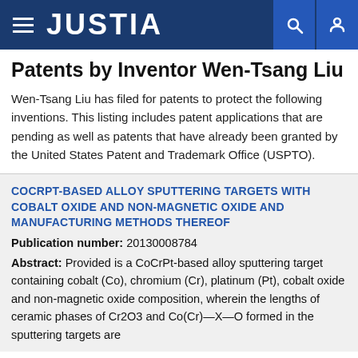JUSTIA
Patents by Inventor Wen-Tsang Liu
Wen-Tsang Liu has filed for patents to protect the following inventions. This listing includes patent applications that are pending as well as patents that have already been granted by the United States Patent and Trademark Office (USPTO).
COCRPT-BASED ALLOY SPUTTERING TARGETS WITH COBALT OXIDE AND NON-MAGNETIC OXIDE AND MANUFACTURING METHODS THEREOF
Publication number: 20130008784
Abstract: Provided is a CoCrPt-based alloy sputtering target containing cobalt (Co), chromium (Cr), platinum (Pt), cobalt oxide and non-magnetic oxide composition, wherein the lengths of ceramic phases of Cr2O3 and Co(Cr)—X—O formed in the sputtering targets are